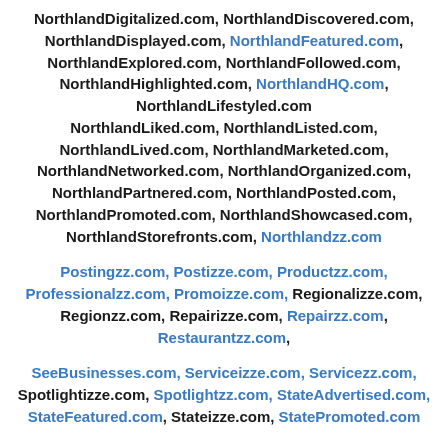NorthlandDigitalized.com, NorthlandDiscovered.com, NorthlandDisplayed.com, NorthlandFeatured.com, NorthlandExplored.com, NorthlandFollowed.com, NorthlandHighlighted.com, NorthlandHQ.com, NorthlandLifestyled.com NorthlandLiked.com, NorthlandListed.com, NorthlandLived.com, NorthlandMarketed.com, NorthlandNetworked.com, NorthlandOrganized.com, NorthlandPartnered.com, NorthlandPosted.com, NorthlandPromoted.com, NorthlandShowcased.com, NorthlandStorefronts.com, Northlandzz.com
Postingzz.com, Postizze.com, Productzz.com, Professionalzz.com, Promoizze.com, Regionalizze.com, Regionzz.com, Repairizze.com, Repairzz.com, Restaurantzz.com,
SeeBusinesses.com, Serviceizze.com, Servicezz.com, Spotlightizze.com, Spotlightzz.com, StateAdvertised.com, StateFeatured.com, Stateizze.com, StatePromoted.com